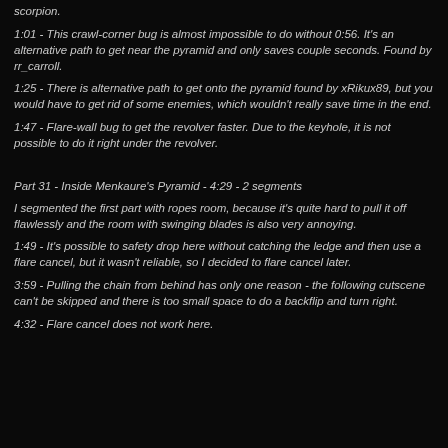scorpion.
1:01 - This crawl-corner bug is almost impossible to do without 0:56. It's an alternative path to get near the pyramid and only saves couple seconds. Found by rr_carroll.
1:25 - There is alternative path to get onto the pyramid found by xRikux89, but you would have to get rid of some enemies, which wouldn't really save time in the end.
1:47 - Flare-wall bug to get the revolver faster. Due to the keyhole, it is not possible to do it right under the revolver.
Part 31 - Inside Menkaure's Pyramid - 4:29 - 2 segments
I segmented the first part with ropes room, because it's quite hard to pull it off flawlessly and the room with swinging blades is also very annoying.
1:49 - It's possible to safety drop here without catching the ledge and then use a flare cancel, but it wasn't reliable, so I decided to flare cancel later.
3:59 - Pulling the chain from behind has only one reason - the following cutscene can't be skipped and there is too small space to do a backflip and turn right.
4:32 - Flare cancel does not work here.